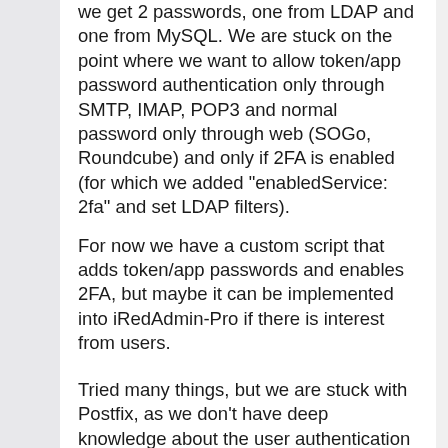we get 2 passwords, one from LDAP and one from MySQL. We are stuck on the point where we want to allow token/app password authentication only through SMTP, IMAP, POP3 and normal password only through web (SOGo, Roundcube) and only if 2FA is enabled (for which we added "enabledService: 2fa" and set LDAP filters).
For now we have a custom script that adds token/app passwords and enables 2FA, but maybe it can be implemented into iRedAdmin-Pro if there is interest from users.
Tried many things, but we are stuck with Postfix, as we don't have deep knowledge about the user authentication configuration in combination with LDAP filters.